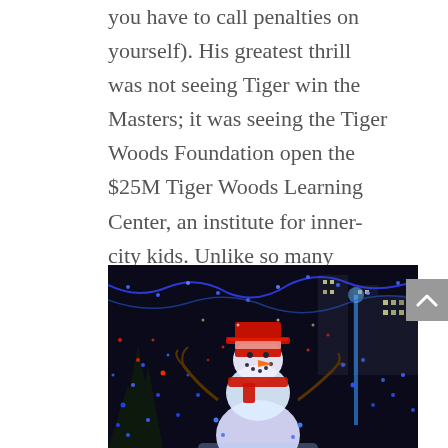you have to call penalties on yourself). His greatest thrill was not seeing Tiger win the Masters; it was seeing the Tiger Woods Foundation open the $25M Tiger Woods Learning Center, an institute for inner-city kids. Unlike so many parents, Earl didn't see sport as a way to earn a good life; he saw it as a way to learn one."
[Figure (photo): Night-time photo of Christmas lights display featuring a large illuminated snowman with a red top hat and scarf, surrounded by colorful holiday lights on trees and buildings in the background.]